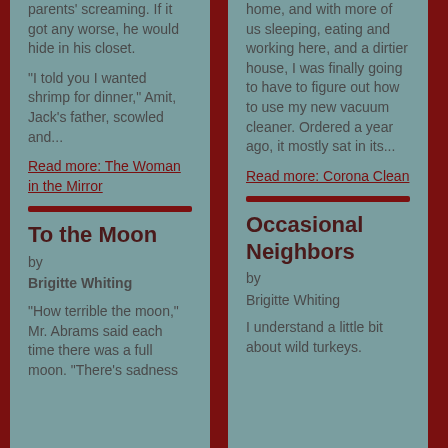parents' screaming. If it got any worse, he would hide in his closet.
“I told you I wanted shrimp for dinner,” Amit, Jack’s father, scowled and...
Read more: The Woman in the Mirror
To the Moon
by
Brigitte Whiting
"How terrible the moon," Mr. Abrams said each time there was a full moon. "There’s sadness
home, and with more of us sleeping, eating and working here, and a dirtier house, I was finally going to have to figure out how to use my new vacuum cleaner. Ordered a year ago, it mostly sat in its...
Read more: Corona Clean
Occasional Neighbors
by
Brigitte Whiting
I understand a little bit about wild turkeys.